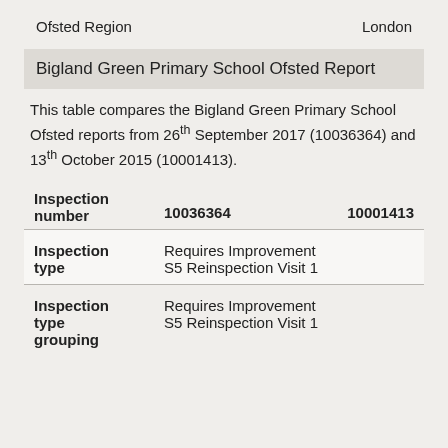Ofsted Region    London
Bigland Green Primary School Ofsted Report
This table compares the Bigland Green Primary School Ofsted reports from 26th September 2017 (10036364) and 13th October 2015 (10001413).
| Inspection number | 10036364 | 10001413 |
| --- | --- | --- |
| Inspection type | Requires Improvement S5 Reinspection Visit 1 |  |
| Inspection type grouping | Requires Improvement S5 Reinspection Visit 1 |  |